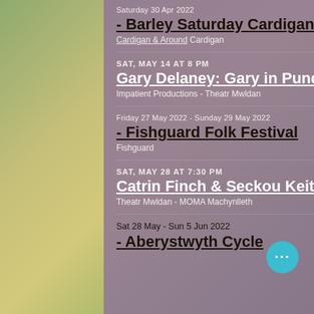Saturday 30 Apr 2022
- Barley Saturday Cardigan
Cardigan & Around  Cardigan
SAT, MAY 14 AT 8 PM
Gary Delaney: Gary in Punderland
Impatient Productions - Theatr Mwldan
Friday 27 May 2022 - Sunday 29 May 2022
- Fishguard Folk Festival
Fishguard
SAT, MAY 28 AT 7:30 PM
Catrin Finch & Seckou Keita at Y Tabernacl, Machynlleth
Theatr Mwldan - MOMA Machynlleth
Sat 28 May - Sun 5 Jun 2022
- Aberystwyth Cycle